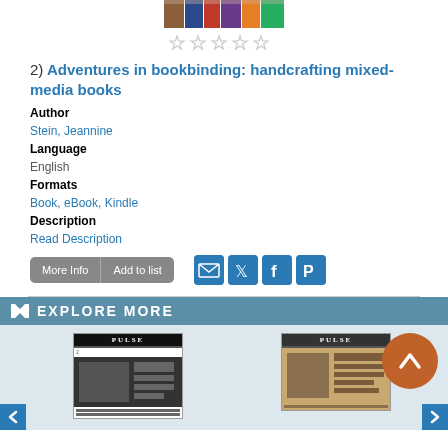[Figure (photo): Book cover showing colorful books on a shelf, partially visible at top]
[Figure (other): Five empty star rating icons in a row]
2)  Adventures in bookbinding: handcrafting mixed-media books
Author
Stein, Jeannine
Language
English
Formats
Book, eBook, Kindle
Description
Read Description
[Figure (other): More Info and Add to list buttons, plus email, Twitter, Facebook, Pinterest social icons]
EXPLORE MORE
[Figure (photo): Two Pulse newspaper thumbnails shown side by side in the Explore More section, with a scroll-up orange button and left/right navigation arrows]